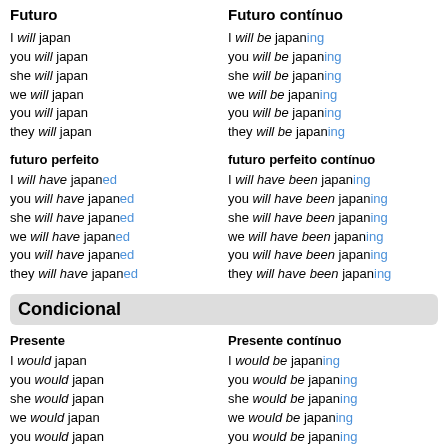Futuro
Futuro contínuo
I will japan
you will japan
she will japan
we will japan
you will japan
they will japan
I will be japaning
you will be japaning
she will be japaning
we will be japaning
you will be japaning
they will be japaning
futuro perfeito
futuro perfeito contínuo
I will have japaned
you will have japaned
she will have japaned
we will have japaned
you will have japaned
they will have japaned
I will have been japaning
you will have been japaning
she will have been japaning
we will have been japaning
you will have been japaning
they will have been japaning
Condicional
Presente
Presente contínuo
I would japan
you would japan
she would japan
we would japan
you would japan
they would japan
I would be japaning
you would be japaning
she would be japaning
we would be japaning
you would be japaning
they would be japaning
Passado
Passado contínuo